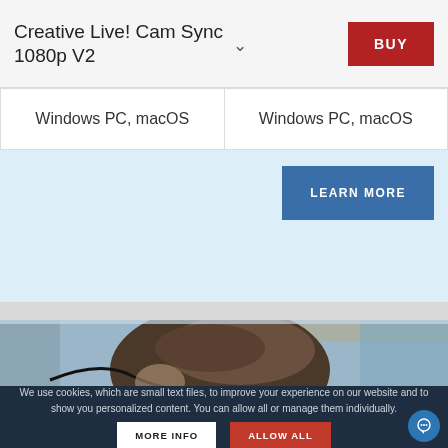Creative Live! Cam Sync 1080p V2
Windows PC, macOS
Windows PC, macOS
LEARN MORE
[Figure (photo): Person from behind, head tilted down, in an office/home setting with blue background]
We use cookies, which are small text files, to improve your experience on our website and to show you personalized content. You can allow all or manage them individually.
MORE INFO
ALLOW ALL